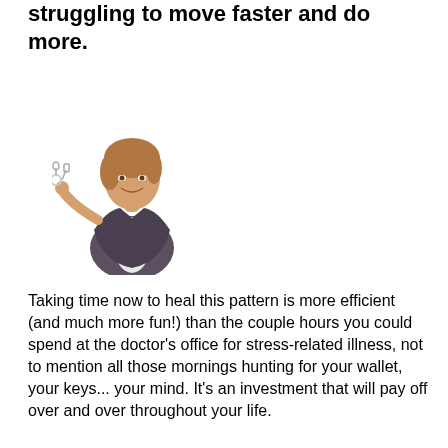struggling to move faster and do more.
[Figure (photo): A smiling woman with short brown hair, wearing a white blouse and dark vest, holding out keys toward the viewer.]
Taking time now to heal this pattern is more efficient (and much more fun!) than the couple hours you could spend at the doctor's office for stress-related illness, not to mention all those mornings hunting for your wallet, your keys... your mind. It's an investment that will pay off over and over throughout your life.